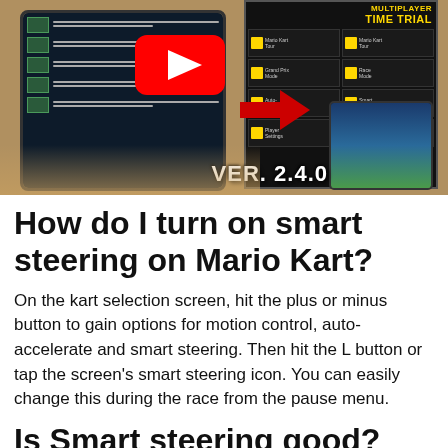[Figure (screenshot): YouTube video thumbnail showing hands holding a smartphone with a game menu on screen, a game mode selection panel visible on the right showing MULTIPLAYER and TIME TRIAL options, a small phone in the bottom right showing a racing game, a YouTube play button overlay, a red arrow, and VER. 2.4.0 text in the bottom right area.]
How do I turn on smart steering on Mario Kart?
On the kart selection screen, hit the plus or minus button to gain options for motion control, auto-accelerate and smart steering. Then hit the L button or tap the screen's smart steering icon. You can easily change this during the race from the pause menu.
Is Smart steering good?